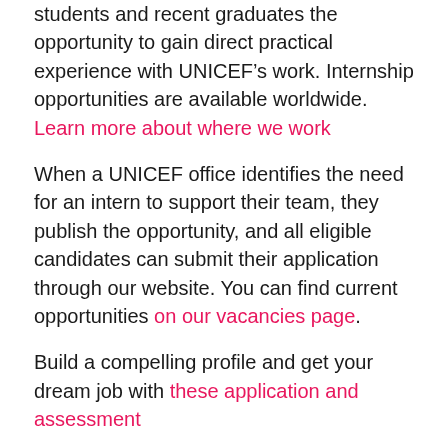students and recent graduates the opportunity to gain direct practical experience with UNICEF’s work. Internship opportunities are available worldwide. Learn more about where we work
When a UNICEF office identifies the need for an intern to support their team, they publish the opportunity, and all eligible candidates can submit their application through our website. You can find current opportunities on our vacancies page.
Build a compelling profile and get your dream job with these application and assessment